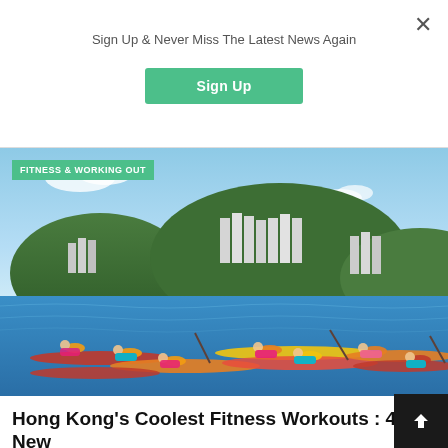Sign Up & Never Miss The Latest News Again
Sign Up
[Figure (photo): Group of people doing fitness exercises lying on paddleboards on the water, with green hills and high-rise buildings of Hong Kong in the background. A green badge reads FITNESS & WORKING OUT at top left.]
Hong Kong's Coolest Fitness Workouts : 4 New